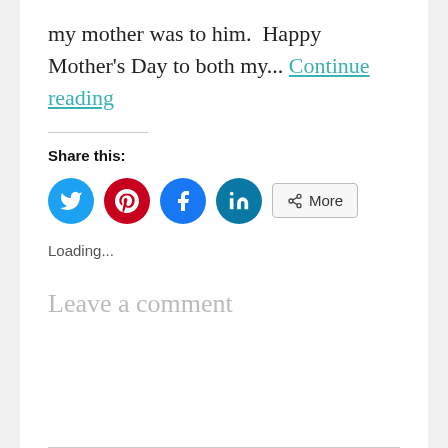my mother was to him.  Happy Mother's Day to both my... Continue reading
Share this:
[Figure (infographic): Social share buttons: Twitter (blue circle), Pinterest (red circle), Facebook (blue circle), LinkedIn (teal circle), and a More button with share icon]
Loading...
Leave a comment